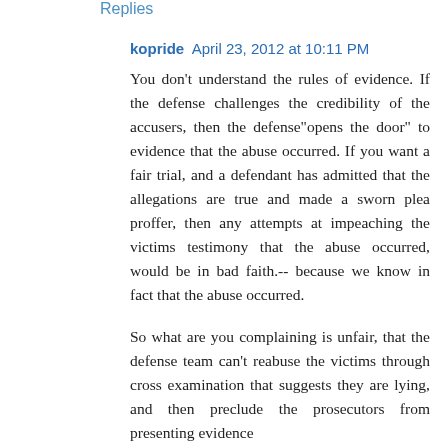Replies
kopride  April 23, 2012 at 10:11 PM
You don't understand the rules of evidence. If the defense challenges the credibility of the accusers, then the defense"opens the door" to evidence that the abuse occurred. If you want a fair trial, and a defendant has admitted that the allegations are true and made a sworn plea proffer, then any attempts at impeaching the victims testimony that the abuse occurred, would be in bad faith.-- because we know in fact that the abuse occurred.
So what are you complaining is unfair, that the defense team can't reabuse the victims through cross examination that suggests they are lying, and then preclude the prosecutors from presenting evidence